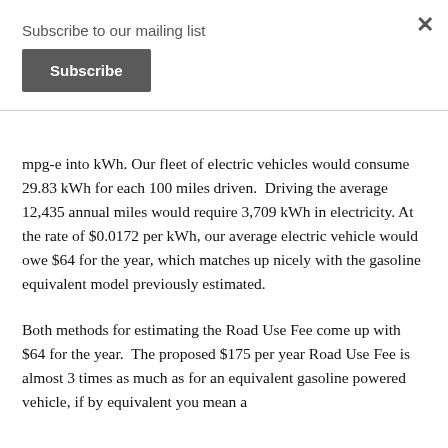Subscribe to our mailing list
Subscribe
mpg-e into kWh. Our fleet of electric vehicles would consume 29.83 kWh for each 100 miles driven.  Driving the average 12,435 annual miles would require 3,709 kWh in electricity. At the rate of $0.0172 per kWh, our average electric vehicle would owe $64 for the year, which matches up nicely with the gasoline equivalent model previously estimated.
Both methods for estimating the Road Use Fee come up with $64 for the year.  The proposed $175 per year Road Use Fee is almost 3 times as much as for an equivalent gasoline powered vehicle, if by equivalent you mean a